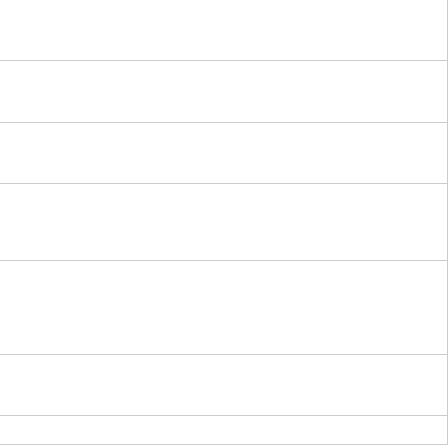| Number | Reference |
| --- | --- |
| 184 | Shon DJ, Kuo A, Ferr... targeting proteases. B... 3] [Cited by in F6Publi... |
| 185 | Barber TM, Valsamak... the Microbiota-Gut-Bra... in Crossref: 2] [Cited b... |
| 186 | Blesl A, Stadlbauer V... DOI: 10.3390/nu13031... Citation Analysis] |
| 187 | Zhang CY, Peng XX, ... Mucosa in Mice With F... [PMID: 33708183 DOI... Influence: 1.0] [Refere... |
| 188 | Stinson SE, Jonsson... Holst JJ, Christianse... Overweight/Obesity ar... 2021;106:1718-27. [P... F6Publishing: 3] [Articl... |
| 189 | Lefort C, Cani PD. Th... Metabolism. Cells 202... F6Publishing: 5] [Articl... |
| 190 | Liu C, Wu H, Fan H, P... |